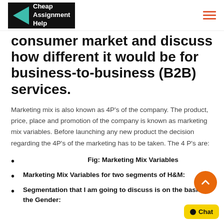Cheap Assignment Help
consumer market and discuss how different it would be for business-to-business (B2B) services.
Marketing mix is also known as 4P’s of the company. The product, price, place and promotion of the company is known as marketing mix variables. Before launching any new product the decision regarding the 4P’s of the marketing has to be taken. The 4 P’s are:
Fig: Marketing Mix Variables
Marketing Mix Variables for two segments of H&M:
Segmentation that I am going to discuss is on the basis of the Gender: